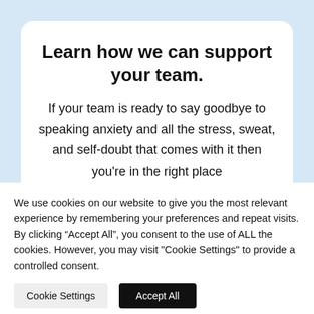Learn how we can support your team.
If your team is ready to say goodbye to speaking anxiety and all the stress, sweat, and self-doubt that comes with it then you're in the right place
We use cookies on our website to give you the most relevant experience by remembering your preferences and repeat visits. By clicking “Accept All”, you consent to the use of ALL the cookies. However, you may visit "Cookie Settings" to provide a controlled consent.
Cookie Settings | Accept All